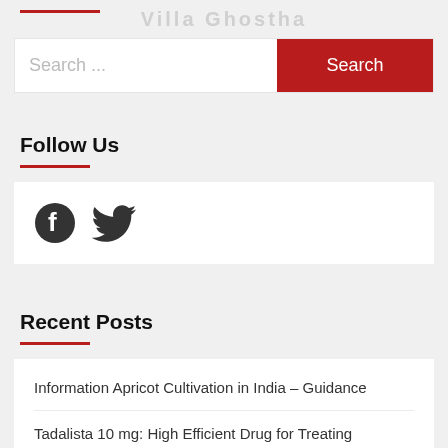Villa Ghostha (watermark-style title)
Search ...
Follow Us
[Figure (other): Facebook and Twitter social media icons]
Recent Posts
Information Apricot Cultivation in India – Guidance
Tadalista 10 mg: High Efficient Drug for Treating ED – Golden Pharmacy
Cenforce 50: The Best Medicine to Treat Erectile